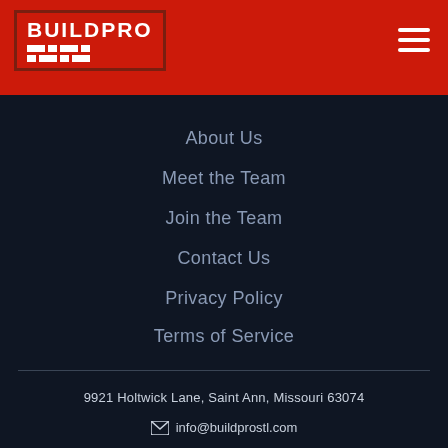[Figure (logo): BuildPro logo in white on red background with horizontal bar segments]
About Us
Meet the Team
Join the Team
Contact Us
Privacy Policy
Terms of Service
9921 Holtwick Lane, Saint Ann, Missouri 63074
info@buildprostl.com